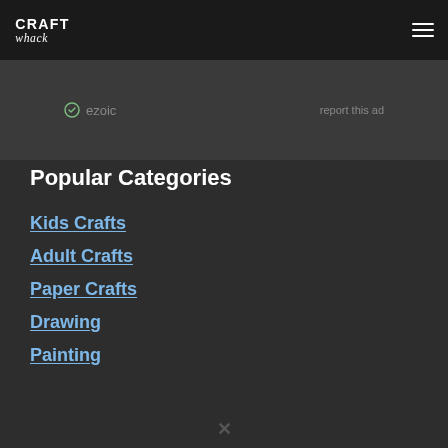CraftWhack
[Figure (logo): CraftWhack logo with stylized text, CRAFT in bold uppercase and whack in italic script]
ezoic   report this ad
Popular Categories
Kids Crafts
Adult Crafts
Paper Crafts
Drawing
Painting